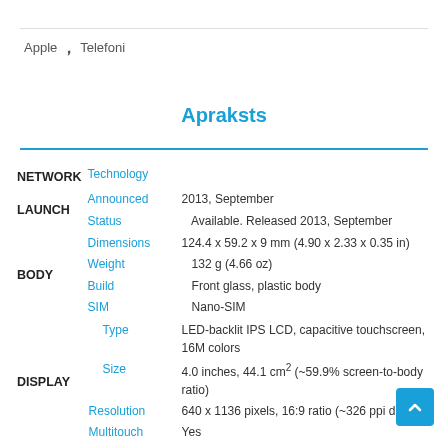Apple , Telefoni
Apraksts
| Category | Field | Value |
| --- | --- | --- |
| NETWORK | Technology |  |
| LAUNCH | Announced | 2013, September |
|  | Status | Available. Released 2013, September |
| BODY | Dimensions | 124.4 x 59.2 x 9 mm (4.90 x 2.33 x 0.35 in) |
|  | Weight | 132 g (4.66 oz) |
|  | Build | Front glass, plastic body |
|  | SIM | Nano-SIM |
| DISPLAY | Type | LED-backlit IPS LCD, capacitive touchscreen, 16M colors |
|  | Size | 4.0 inches, 44.1 cm² (~59.9% screen-to-body ratio) |
|  | Resolution | 640 x 1136 pixels, 16:9 ratio (~326 ppi density) |
|  | Multitouch | Yes |
|  | OS | iOS 7, ungradable to iOS 10.3.3 |